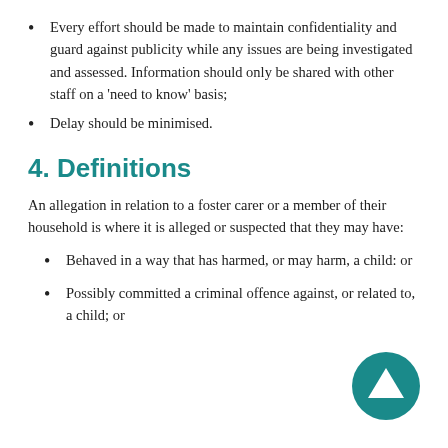Every effort should be made to maintain confidentiality and guard against publicity while any issues are being investigated and assessed. Information should only be shared with other staff on a 'need to know' basis;
Delay should be minimised.
4. Definitions
An allegation in relation to a foster carer or a member of their household is where it is alleged or suspected that they may have:
Behaved in a way that has harmed, or may harm, a child: or
Possibly committed a criminal offence against, or related to, a child; or